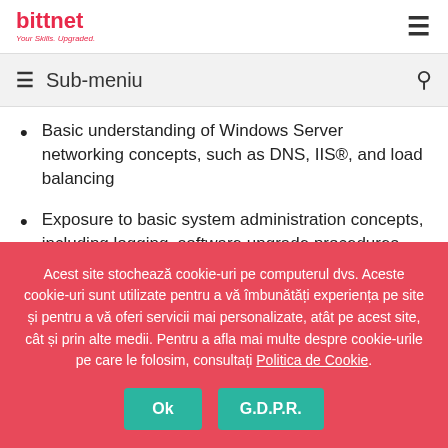bittnet — Your Skills. Upgraded.
Sub-meniu
Basic understanding of Windows Server networking concepts, such as DNS, IIS®, and load balancing
Exposure to basic system administration concepts, including logging, software upgrade procedures, and high availability operations
Familiarity with server monitoring tools
Basic understanding of VPN concepts including SSL
Acest site stochează cookie-uri pe computerul dvs. Aceste cookie-uri sunt utilizate pentru a vă îmbunătăți experiența pe site și pentru a vă oferi servicii mai personalizate, atât pe acest site, cât și prin alte medii. Pentru a afla mai multe despre cookie-urile pe care le folosim, consultați Politica de Cookie.